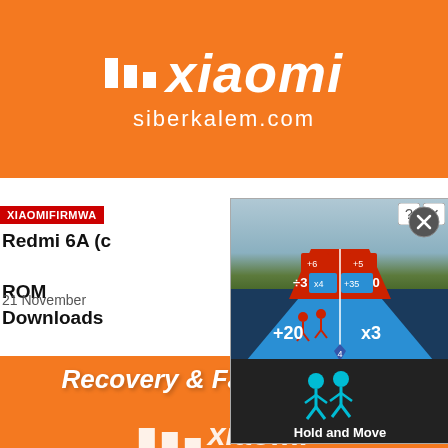[Figure (logo): Xiaomi logo with three vertical bars and 'xiaomi' stylized text on orange background, with 'siberkalem.com' below]
XIAOMIFIRMWA
Redmi 6A (c  ...overy ROM
Downloads
21 November
[Figure (screenshot): Hold and Move mobile game advertisement showing colorful runner game with operators +20, x3, ÷3, -10, +35 on lanes, with game title 'Hold and Move' at bottom, and close/info buttons in top right]
[Figure (logo): Xiaomi Recovery & Fastboot ROM banner on orange background at bottom]